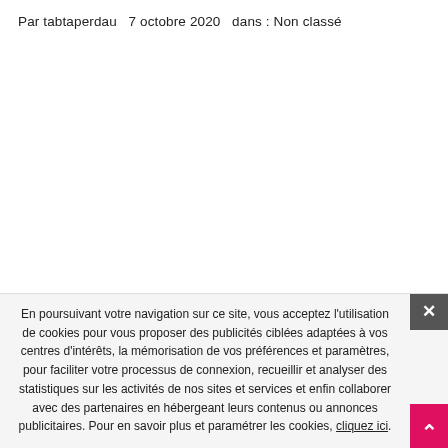Par tabtaperdau   7 octobre 2020   dans : Non classé
singam movie songs, singam movie songs download, singam movie songs free download, singam movie songs download
En poursuivant votre navigation sur ce site, vous acceptez l'utilisation de cookies pour vous proposer des publicités ciblées adaptées à vos centres d'intérêts, la mémorisation de vos préférences et paramètres, pour faciliter votre processus de connexion, recueillir et analyser des statistiques sur les activités de nos sites et services et enfin collaborer avec des partenaires en hébergeant leurs contenus ou annonces publicitaires. Pour en savoir plus et paramétrer les cookies, cliquez ici.